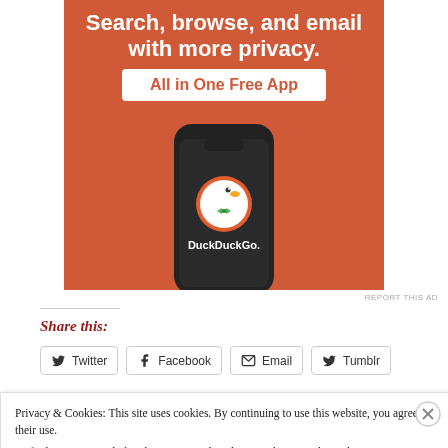[Figure (screenshot): DuckDuckGo advertisement banner with orange background showing smartphone with DuckDuckGo logo, text 'Search, browse, and email with more privacy. All in One Free App']
REPORT THIS AD
Share this:
Twitter
Facebook
Email
Tumblr
Privacy & Cookies: This site uses cookies. By continuing to use this website, you agree to their use. To find out more, including how to control cookies, see here: Cookie Policy
Close and accept
[Figure (screenshot): Bottom advertisement banner with dark blue background showing 'BROWSING' text]